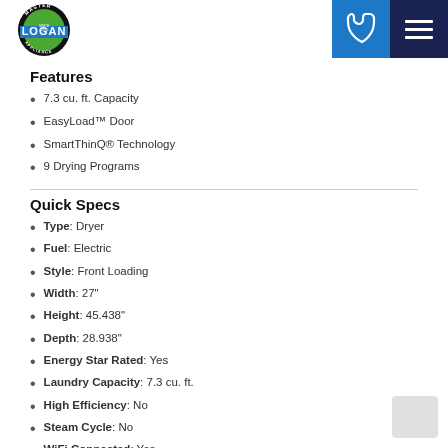[Figure (logo): Logan Master Appliance logo — circular badge with green center and 'LOGAN' in blue banner]
[Figure (infographic): Navigation icons: blue phone icon and dark navy hamburger menu icon]
Features
7.3 cu. ft. Capacity
EasyLoad™ Door
SmartThinQ® Technology
9 Drying Programs
Quick Specs
Type: Dryer
Fuel: Electric
Style: Front Loading
Width: 27"
Height: 45.438"
Depth: 28.938"
Energy Star Rated: Yes
Laundry Capacity: 7.3 cu. ft.
High Efficiency: No
Steam Cycle: No
WiFi Connected: Yes